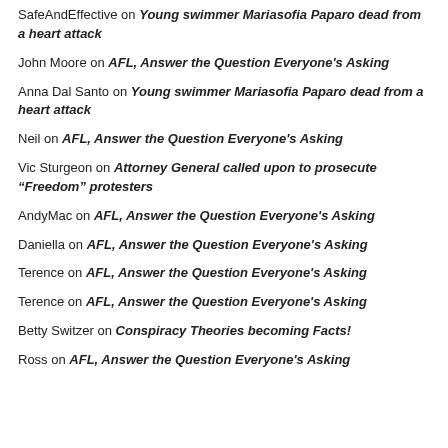SafeAndEffective on Young swimmer Mariasofia Paparo dead from a heart attack
John Moore on AFL, Answer the Question Everyone's Asking
Anna Dal Santo on Young swimmer Mariasofia Paparo dead from a heart attack
Neil on AFL, Answer the Question Everyone's Asking
Vic Sturgeon on Attorney General called upon to prosecute “Freedom” protesters
AndyMac on AFL, Answer the Question Everyone's Asking
Daniella on AFL, Answer the Question Everyone's Asking
Terence on AFL, Answer the Question Everyone's Asking
Terence on AFL, Answer the Question Everyone's Asking
Betty Switzer on Conspiracy Theories becoming Facts!
Ross on AFL, Answer the Question Everyone's Asking